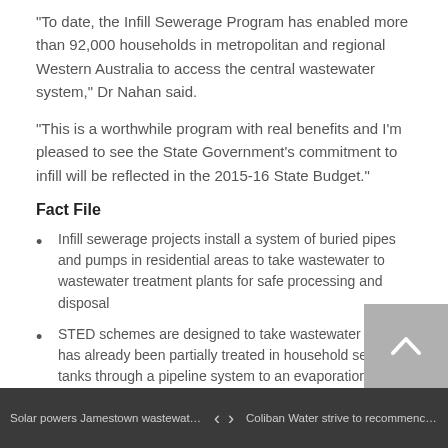“To date, the Infill Sewerage Program has enabled more than 92,000 households in metropolitan and regional Western Australia to access the central wastewater system,” Dr Nahan said.
“This is a worthwhile program with real benefits and I’m pleased to see the State Government’s commitment to infill will be reflected in the 2015-16 State Budget.”
Fact File
Infill sewerage projects install a system of buried pipes and pumps in residential areas to take wastewater to wastewater treatment plants for safe processing and disposal
STED schemes are designed to take wastewater that has already been partially treated in household septic tanks through a pipeline system to an evaporation and infiltration disposal pond system
Solar powers Jamestown wastewater pla... ❮ ❯ Coliban Water strive to recommence proj...